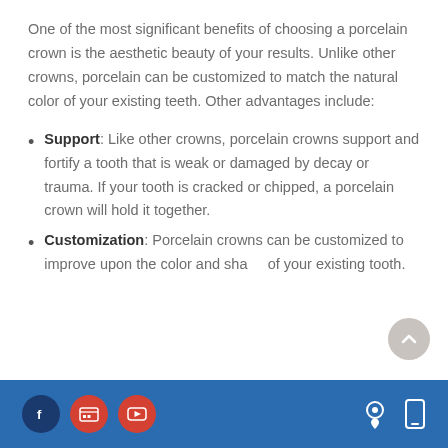One of the most significant benefits of choosing a porcelain crown is the aesthetic beauty of your results. Unlike other crowns, porcelain can be customized to match the natural color of your existing teeth. Other advantages include:
Support: Like other crowns, porcelain crowns support and fortify a tooth that is weak or damaged by decay or trauma. If your tooth is cracked or chipped, a porcelain crown will hold it together.
Customization: Porcelain crowns can be customized to improve upon the color and shape of your existing tooth.
[Social media icons: Facebook, Google+, YouTube] [Location icon] [Mobile icon]